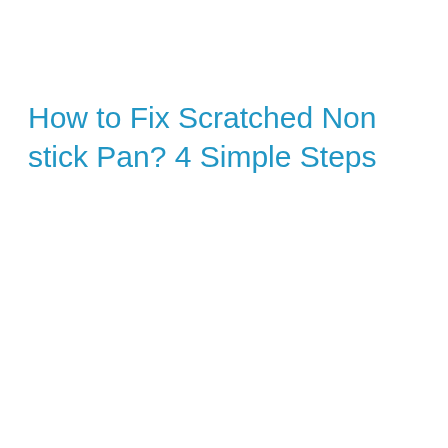How to Fix Scratched Non stick Pan? 4 Simple Steps